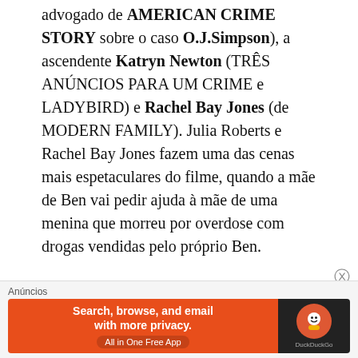advogado de AMERICAN CRIME STORY sobre o caso O.J.Simpson), a ascendente Katryn Newton (TRÊS ANÚNCIOS PARA UM CRIME e LADYBIRD) e Rachel Bay Jones (de MODERN FAMILY). Julia Roberts e Rachel Bay Jones fazem uma das cenas mais espetaculares do filme, quando a mãe de Ben vai pedir ajuda à mãe de uma menina que morreu por overdose com drogas vendidas pelo próprio Ben.
O RETORNO DE BEN suscita múltiplos temas ligados ao vício por drogas, como a falência financeira da família, os roubos em casa, o
[Figure (other): DuckDuckGo advertisement banner with orange background. Text reads: Search, browse, and email with more privacy. All in One Free App. DuckDuckGo logo on dark background on the right.]